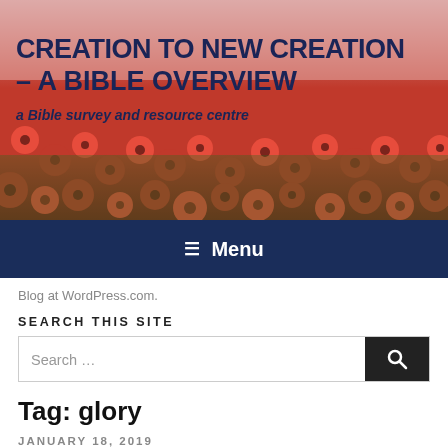[Figure (photo): Red poppy field background banner with site title and tagline overlaid]
CREATION TO NEW CREATION – A BIBLE OVERVIEW
a Bible survey and resource centre
☰ Menu
Blog at WordPress.com.
SEARCH THIS SITE
Search ...
Tag: glory
JANUARY 18, 2019
'Who shall ascend the mountain of the Lord?' by L. Michael Morales